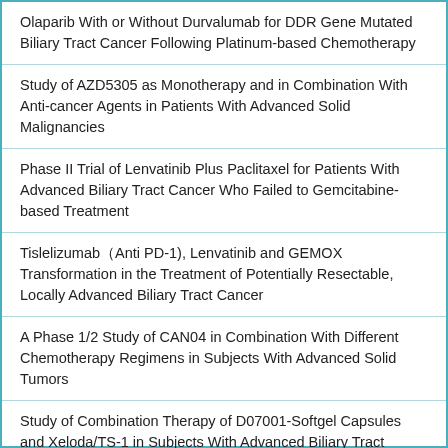Olaparib With or Without Durvalumab for DDR Gene Mutated Biliary Tract Cancer Following Platinum-based Chemotherapy
Study of AZD5305 as Monotherapy and in Combination With Anti-cancer Agents in Patients With Advanced Solid Malignancies
Phase II Trial of Lenvatinib Plus Paclitaxel for Patients With Advanced Biliary Tract Cancer Who Failed to Gemcitabine-based Treatment
Tislelizumab（Anti PD-1), Lenvatinib and GEMOX Transformation in the Treatment of Potentially Resectable, Locally Advanced Biliary Tract Cancer
A Phase 1/2 Study of CAN04 in Combination With Different Chemotherapy Regimens in Subjects With Advanced Solid Tumors
Study of Combination Therapy of D07001-Softgel Capsules and Xeloda/TS-1 in Subjects With Advanced Biliary Tract Cancer